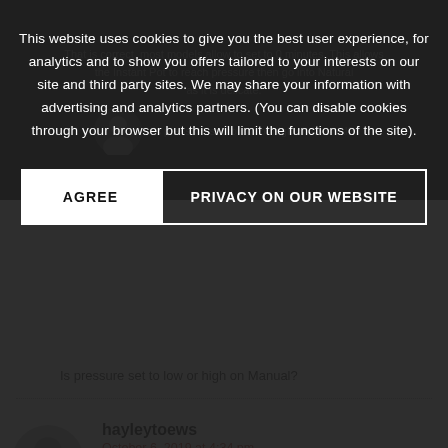This website uses cookies to give you the best user experience, for analytics and to show you offers tailored to your interests on our site and third party sites. We may share your information with advertising and analytics partners. (You can disable cookies through your browser but this will limit the functions of the site).
AGREE
PRIVACY ON OUR WEBSITE
Is pressure set to low or high on Manual?
hayleytoews
October 6, 2019 at 4:34 pm
This is probably one of my top 3 instant pot recipes. I served mine over rice and added a bit more liquid ingredients. Can't wait to make again.